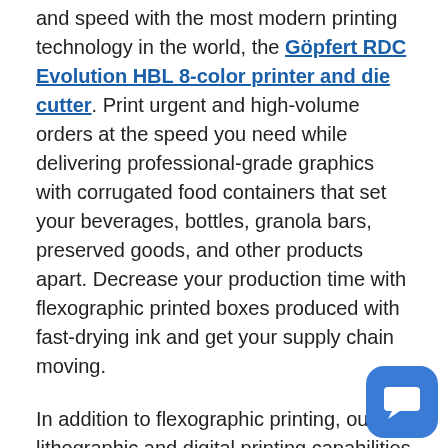and speed with the most modern printing technology in the world, the Göpfert RDC Evolution HBL 8-color printer and die cutter. Print urgent and high-volume orders at the speed you need while delivering professional-grade graphics with corrugated food containers that set your beverages, bottles, granola bars, preserved goods, and other products apart. Decrease your production time with flexographic printed boxes produced with fast-drying ink and get your supply chain moving.
In addition to flexographic printing, our lithographic and digital printing capabilities may offer other cost-effective solutions depending on your production needs. Although you can always ship
[Figure (other): Blue rounded square chat bubble icon in bottom-right corner]